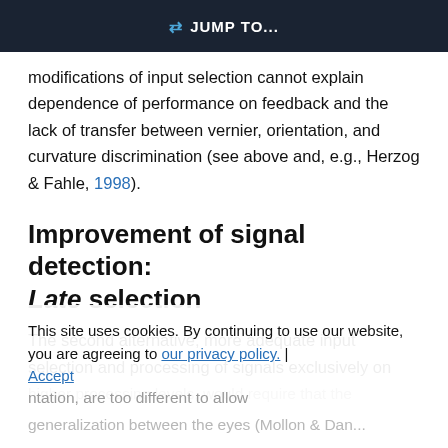JUMP TO...
modifications of input selection cannot explain dependence of performance on feedback and the lack of transfer between vernier, orientation, and curvature discrimination (see above and, e.g., Herzog & Fahle, 1998).
Improvement of signal detection: Late selection
The second alternative, more adequate input selection and processing of signals exclusively on higher processing levels, would require that the ICe, in the case of binocular stimulation, in the case of binocular stimulation, are too different to allow generalization between the eyes (Mollon & Danilova,